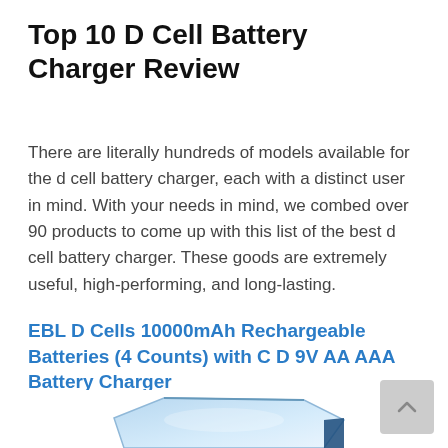Top 10 D Cell Battery Charger Review
There are literally hundreds of models available for the d cell battery charger, each with a distinct user in mind. With your needs in mind, we combed over 90 products to come up with this list of the best d cell battery charger. These goods are extremely useful, high-performing, and long-lasting.
EBL D Cells 10000mAh Rechargeable Batteries (4 Counts) with C D 9V AA AAA Battery Charger
[Figure (photo): Partial view of a battery charger product, showing the top portion of a blue/white battery charger device against a white background]